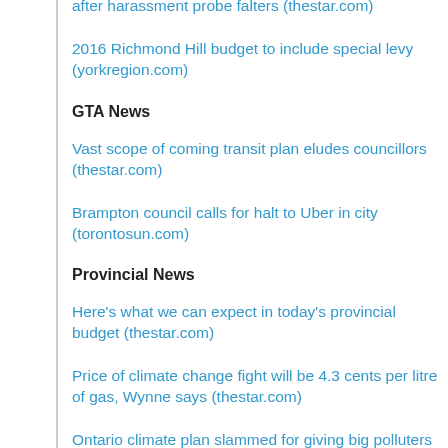after harassment probe falters (thestar.com)
2016 Richmond Hill budget to include special levy (yorkregion.com)
GTA News
Vast scope of coming transit plan eludes councillors (thestar.com)
Brampton council calls for halt to Uber in city (torontosun.com)
Provincial News
Here's what we can expect in today's provincial budget (thestar.com)
Price of climate change fight will be 4.3 cents per litre of gas, Wynne says (thestar.com)
Ontario climate plan slammed for giving big polluters break on emissions